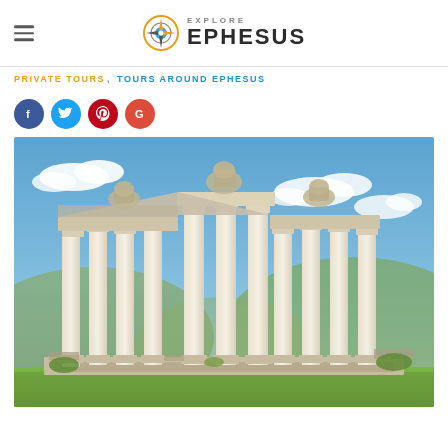Explore Ephesus
PRIVATE TOURS, TOURS AROUND EPHESUS
[Figure (other): Social share buttons: Facebook, Twitter, Pinterest, Google]
[Figure (photo): Ancient Roman ruins with tall marble columns and ornate carved pediment at an archaeological site, blue sky with clouds and hills in background]